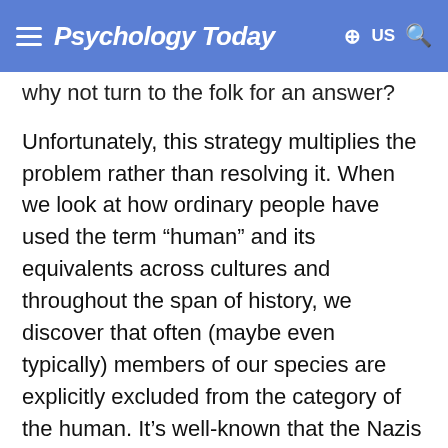Psychology Today
why not turn to the folk for an answer?
Unfortunately, this strategy multiplies the problem rather than resolving it. When we look at how ordinary people have used the term “human” and its equivalents across cultures and throughout the span of history, we discover that often (maybe even typically) members of our species are explicitly excluded from the category of the human. It’s well-known that the Nazis considered Jews to be non-human creatures (Untermenschen), and somewhat less well-known that fifteenth-century Spanish colonists took a similar stance towards the indigenous inhabitants of the Caribbean islands, as did North Americans